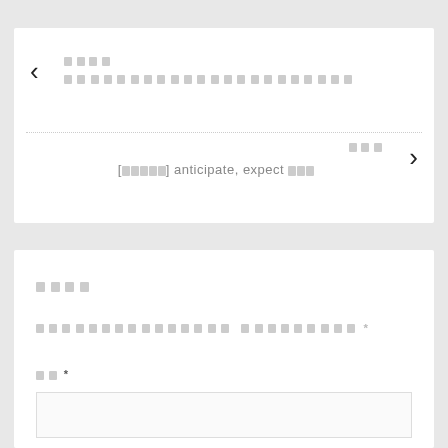< [Korean prev label] [Korean prev title text redacted]
[Korean next label] > [한국어] anticipate, expect 한국어
[Korean: Comment section heading]
[Korean field label] *
[Korean name label] *